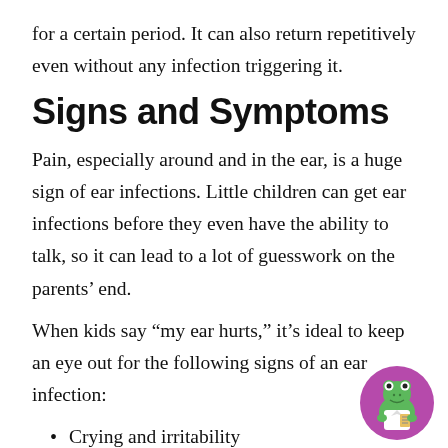for a certain period. It can also return repetitively even without any infection triggering it.
Signs and Symptoms
Pain, especially around and in the ear, is a huge sign of ear infections. Little children can get ear infections before they even have the ability to talk, so it can lead to a lot of guesswork on the parents' end.
When kids say “my ear hurts,” it’s ideal to keep an eye out for the following signs of an ear infection:
Crying and irritability
Difficulty hearing or responding to auditory cues